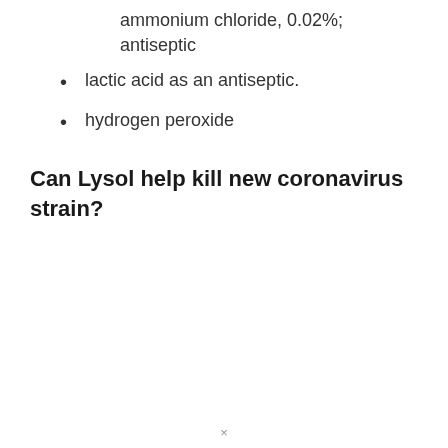ammonium chloride, 0.02%; antiseptic
lactic acid as an antiseptic.
hydrogen peroxide
Can Lysol help kill new coronavirus strain?